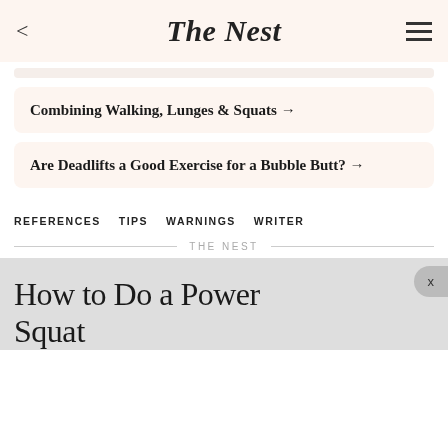The Nest
Combining Walking, Lunges & Squats →
Are Deadlifts a Good Exercise for a Bubble Butt? →
REFERENCES   TIPS   WARNINGS   WRITER
THE NEST
How to Do a Power Squat